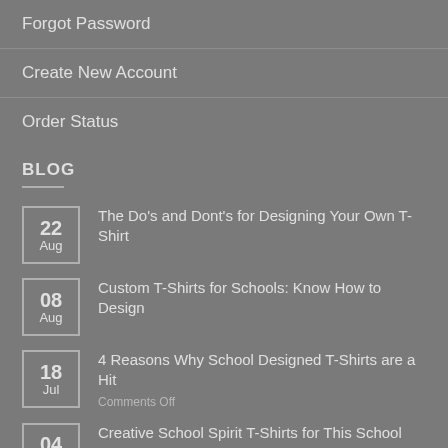Forgot Password
Create New Account
Order Status
BLOG
22 Aug — The Do's and Dont's for Designing Your Own T-Shirt
08 Aug — Custom T-Shirts for Schools: Know How to Design
18 Jul — 4 Reasons Why School Designed T-Shirts are a Hit
Comments Off
04 Jul — Creative School Spirit T-Shirts for This School Year
Comments Off